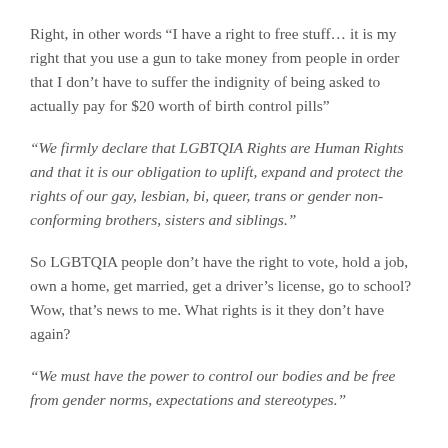Right, in other words “I have a right to free stuff… it is my right that you use a gun to take money from people in order that I don’t have to suffer the indignity of being asked to actually pay for $20 worth of birth control pills”
“We firmly declare that LGBTQIA Rights are Human Rights and that it is our obligation to uplift, expand and protect the rights of our gay, lesbian, bi, queer, trans or gender non-conforming brothers, sisters and siblings.”
So LGBTQIA people don’t have the right to vote, hold a job, own a home, get married, get a driver’s license, go to school? Wow, that’s news to me. What rights is it they don’t have again?
“We must have the power to control our bodies and be free from gender norms, expectations and stereotypes.”